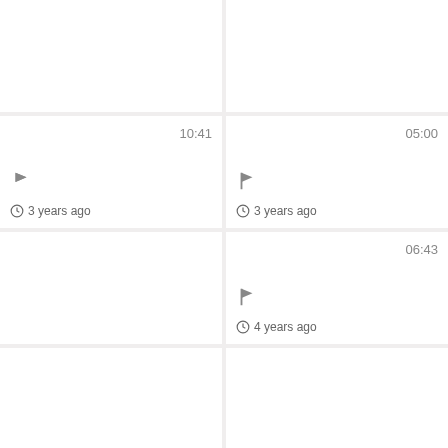[Figure (screenshot): Video thumbnail card - top left, no timestamp, no metadata]
[Figure (screenshot): Video thumbnail card - top right, no timestamp, no metadata]
[Figure (screenshot): Video thumbnail card - second row left, timestamp 10:41, flag icon, clock icon, 3 years ago]
[Figure (screenshot): Video thumbnail card - second row right, timestamp 05:00, flag icon, clock icon, 3 years ago]
[Figure (screenshot): Video thumbnail card - third row left, no timestamp, no metadata]
[Figure (screenshot): Video thumbnail card - third row right, timestamp 06:43, flag icon, clock icon, 4 years ago]
[Figure (screenshot): Video thumbnail card - bottom left, no timestamp, no metadata (partial)]
[Figure (screenshot): Video thumbnail card - bottom right, no timestamp, no metadata (partial)]